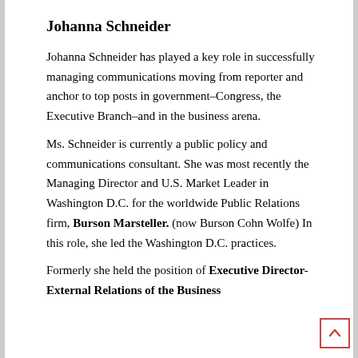Johanna Schneider
Johanna Schneider has played a key role in successfully managing communications moving from reporter and anchor to top posts in government–Congress, the Executive Branch–and in the business arena.
Ms. Schneider is currently a public policy and communications consultant. She was most recently the Managing Director and U.S. Market Leader in Washington D.C. for the worldwide Public Relations firm, Burson Marsteller. (now Burson Cohn Wolfe) In this role, she led the Washington D.C. practices.
Formerly she held the position of Executive Director-External Relations of the Business